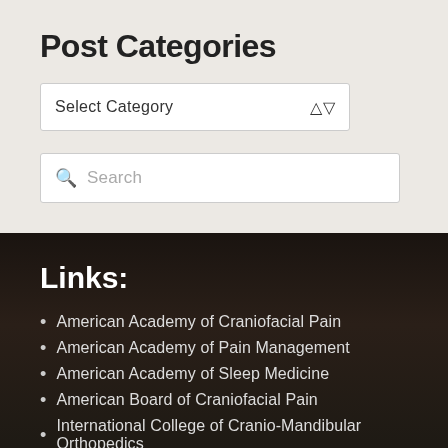Post Categories
Select Category
Search
Links:
American Academy of Craniofacial Pain
American Academy of Pain Management
American Academy of Sleep Medicine
American Board of Craniofacial Pain
International College of Cranio-Mandibular Orthopedics
Search our site